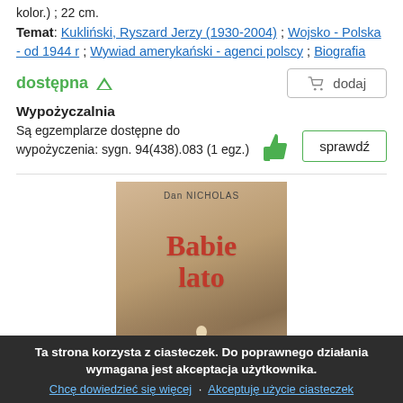kolor.) ; 22 cm.
Temat: Kukliński, Ryszard Jerzy (1930-2004) ; Wojsko - Polska - od 1944 r ; Wywiad amerykański - agenci polscy ; Biografia
dostępna ↑
dodaj
Wypożyczalnia
Są egzemplarze dostępne do wypożyczenia: sygn. 94(438).083 (1 egz.)
sprawdź
[Figure (photo): Book cover for 'Babie lato' - shows a person from behind on a path, with title text in red]
Ta strona korzysta z ciasteczek. Do poprawnego działania wymagana jest akceptacja użytkownika.
Chcę dowiedzieć się więcej · Akceptuję użycie ciasteczek